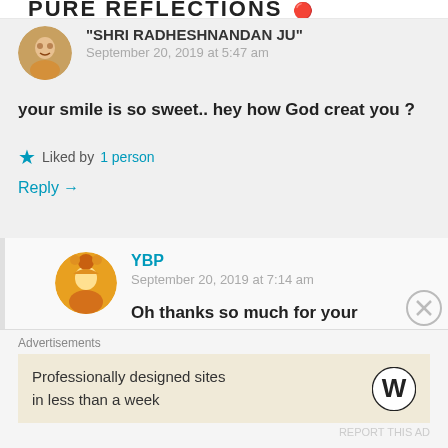PURE REFLECTIONS 🔴
"SHRI RADHESHNANDAN JU"
September 20, 2019 at 5:47 am
your smile is so sweet.. hey how God creat you ?
Liked by 1 person
Reply →
YBP
September 20, 2019 at 7:14 am
Oh thanks so much for your kindness and
Advertisements
Professionally designed sites in less than a week